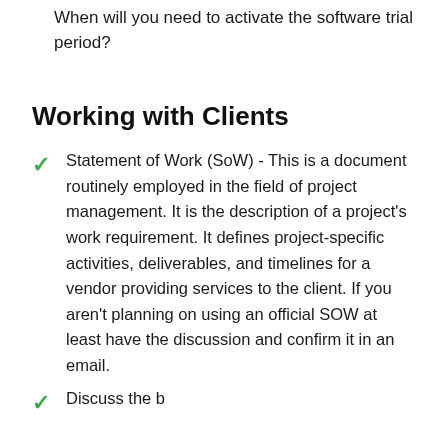When will you need to activate the software trial period?
Working with Clients
Statement of Work (SoW) - This is a document routinely employed in the field of project management. It is the description of a project's work requirement. It defines project-specific activities, deliverables, and timelines for a vendor providing services to the client. If you aren't planning on using an official SOW at least have the discussion and confirm it in an email.
Discuss the b... (partial, cut off)